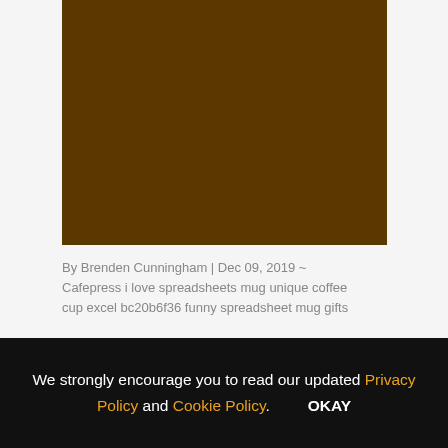[Figure (photo): Dark brown rectangular image block, appears to be a product photo (coffee mug) with a solid dark brown/chocolate color fill]
By Brenden Cunningham | Dec 09, 2019 ~ Cafepress i love spreadsheets mug unique coffee cup excel bc20b6f36 funny spreadsheet mug gifts
Sample Excel Spreadsheet For
We strongly encourage you to read our updated Privacy Policy and Cookie Policy.     OKAY